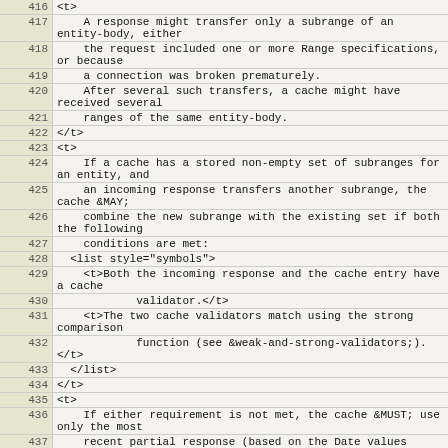| line | code |
| --- | --- |
| 416 | <t> |
| 417 |     A response might transfer only a subrange of an entity-body, either |
| 418 |     the request included one or more Range specifications, or because |
| 419 |     a connection was broken prematurely. |
| 420 |     After several such transfers, a cache might have received several |
| 421 |     ranges of the same entity-body. |
| 422 | </t> |
| 423 | <t> |
| 424 |     If a cache has a stored non-empty set of subranges for an entity, and |
| 425 |     an incoming response transfers another subrange, the cache &MAY; |
| 426 |     combine the new subrange with the existing set if both the following |
| 427 |     conditions are met: |
| 428 |   <list style="symbols"> |
| 429 |     <t>Both the incoming response and the cache entry have a cache |
| 430 |             validator.</t> |
| 431 |     <t>The two cache validators match using the strong comparison |
| 432 |             function (see &weak-and-strong-validators;).</t> |
| 433 |   </list> |
| 434 | </t> |
| 435 | <t> |
| 436 |     If either requirement is not met, the cache &MUST; use only the most |
| 437 |     recent partial response (based on the Date values transmitted with |
| 438 |     every response, and using the incoming response if |